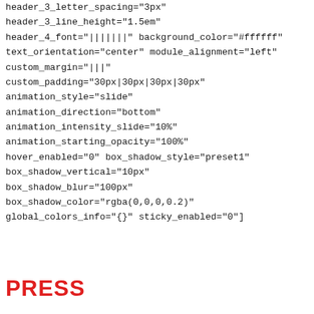header_3_letter_spacing="3px"
header_3_line_height="1.5em"
header_4_font="|||||||" background_color="#ffffff"
text_orientation="center" module_alignment="left"
custom_margin="|||"
custom_padding="30px|30px|30px|30px"
animation_style="slide"
animation_direction="bottom"
animation_intensity_slide="10%"
animation_starting_opacity="100%"
hover_enabled="0" box_shadow_style="preset1"
box_shadow_vertical="10px"
box_shadow_blur="100px"
box_shadow_color="rgba(0,0,0,0.2)"
global_colors_info="{}" sticky_enabled="0"]
PRESS